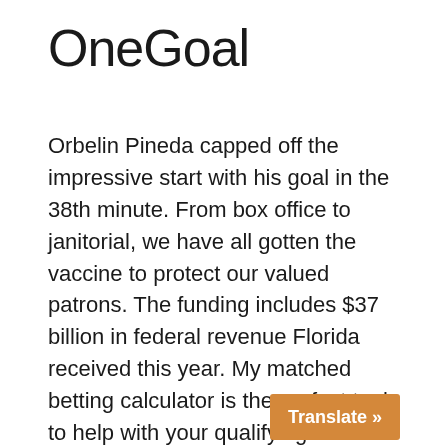OneGoal
Orbelin Pineda capped off the impressive start with his goal in the 38th minute. From box office to janitorial, we have all gotten the vaccine to protect our valued patrons. The funding includes $37 billion in federal revenue Florida received this year. My matched betting calculator is the perfect tool to help with your qualifying bets. 02 and your locked in profit would be $126. “It was all messed up. When visiting Odds Shark, you’ll think you’ve died and gone to professional hoops betting heaven. To earn the full $200 bonus players must wager $800 within 30 days. The available options will vary depending on a selection’s Status, and whether the bet is each way. Like Texas, Florida is one of the six states in the country that does not assess an income tax. All school districts are wel